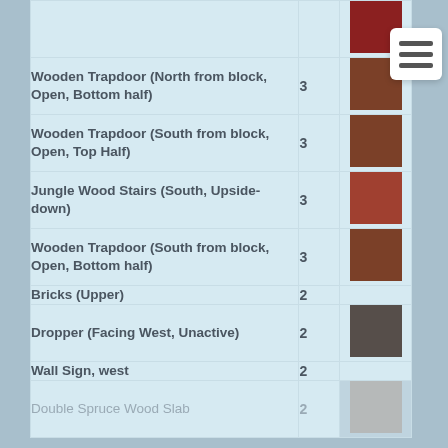| Item | Count | Color |
| --- | --- | --- |
| Wooden Trapdoor (North from block, Open, Bottom half) | 3 | brown #7B4028 |
| Wooden Trapdoor (South from block, Open, Top Half) | 3 | brown #7B4028 |
| Jungle Wood Stairs (South, Upside-down) | 3 | reddish-brown #A04030 |
| Wooden Trapdoor (South from block, Open, Bottom half) | 3 | brown #7B4028 |
| Bricks (Upper) | 2 |  |
| Dropper (Facing West, Unactive) | 2 | dark gray #564E4A |
| Wall Sign, west | 2 |  |
| Double Spruce Wood Slab | 2 | light tan #C4B4A8 |